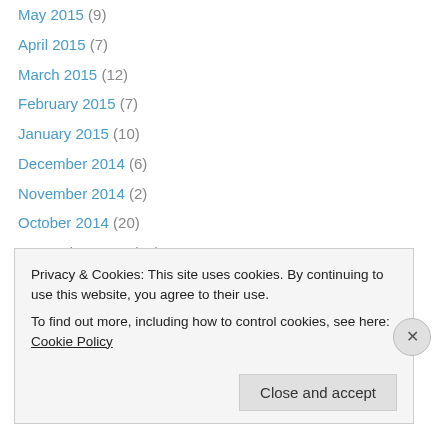May 2015 (9)
April 2015 (7)
March 2015 (12)
February 2015 (7)
January 2015 (10)
December 2014 (6)
November 2014 (2)
October 2014 (20)
September 2014 (36)
August 2014 (24)
July 2014 (31)
June 2014 (34)
May 2014 (30)
Privacy & Cookies: This site uses cookies. By continuing to use this website, you agree to their use.
To find out more, including how to control cookies, see here: Cookie Policy